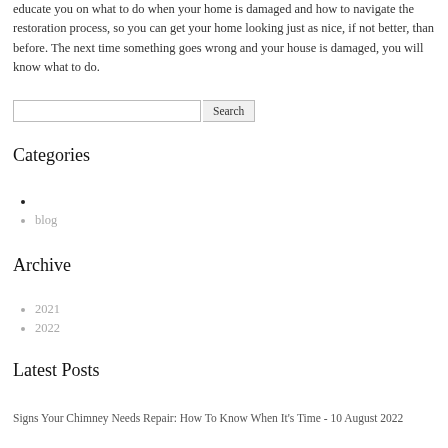educate you on what to do when your home is damaged and how to navigate the restoration process, so you can get your home looking just as nice, if not better, than before. The next time something goes wrong and your house is damaged, you will know what to do.
Categories
blog
Archive
2021
2022
Latest Posts
Signs Your Chimney Needs Repair: How To Know When It's Time - 10 August 2022